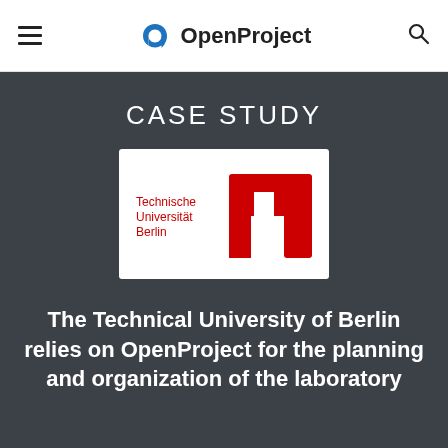OpenProject
CASE STUDY
[Figure (logo): Technische Universität Berlin logo — red TU Berlin stylized mark with the text 'Technische Universität Berlin' and 'berlin' on a white background]
The Technical University of Berlin relies on OpenProject for the planning and organization of the laboratory